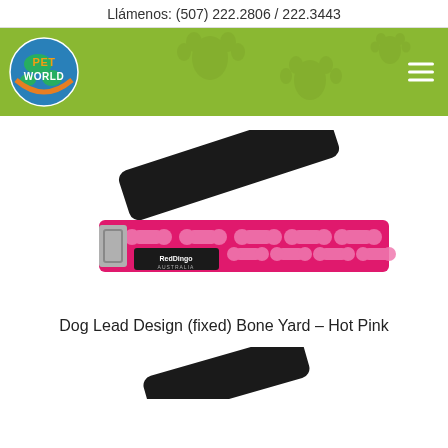Llámenos: (507) 222.2806 / 222.3443
[Figure (logo): Pet World logo - globe with pet world text in green header banner with paw print background and hamburger menu icon]
[Figure (photo): Close-up photo of a hot pink dog lead (leash) with white bone yard design pattern by Red Dingo, showing black handle grip and metal clasp]
Dog Lead Design (fixed) Bone Yard – Hot Pink
[Figure (photo): Partially visible second product image at the bottom of the page, showing another dog lead handle]